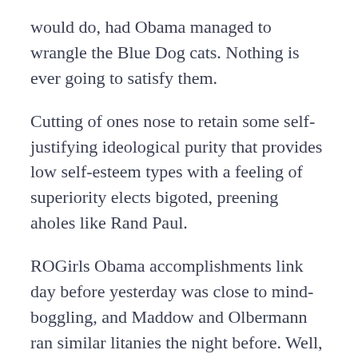would do, had Obama managed to wrangle the Blue Dog cats. Nothing is ever going to satisfy them.
Cutting of ones nose to retain some self-justifying ideological purity that provides low self-esteem types with a feeling of superiority elects bigoted, preening aholes like Rand Paul.
ROGirls Obama accomplishments link day before yesterday was close to mind-boggling, and Maddow and Olbermann ran similar litanies the night before. Well, thanks for nothing Keith and Rachel, back-biters in chief for at least 12 of the last 18 months. Name a President